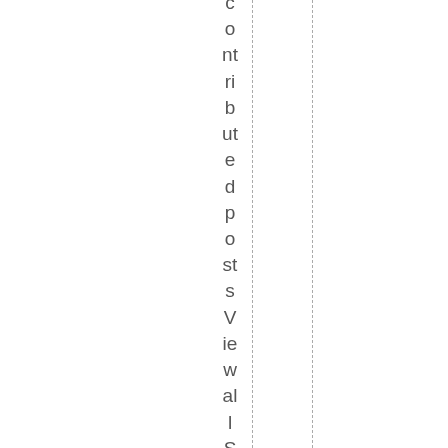contributed posts ViewwallSouthernO